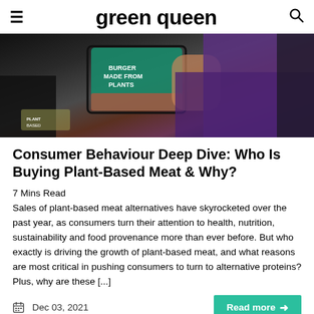green queen
[Figure (photo): A person in a purple jacket holding a package of plant-based burger meat at a grocery store checkout or display area. Packaging reads 'BURGER MADE FROM PLANTS'.]
Consumer Behaviour Deep Dive: Who Is Buying Plant-Based Meat & Why?
7 Mins Read
Sales of plant-based meat alternatives have skyrocketed over the past year, as consumers turn their attention to health, nutrition, sustainability and food provenance more than ever before. But who exactly is driving the growth of plant-based meat, and what reasons are most critical in pushing consumers to turn to alternative proteins? Plus, why are these [...]
Dec 03, 2021